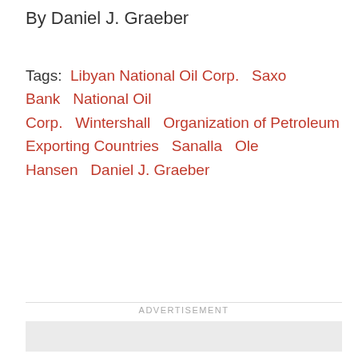By Daniel J. Graeber
Tags: Libyan National Oil Corp. Saxo Bank National Oil Corp. Wintershall Organization of Petroleum Exporting Countries Sanalla Ole Hansen Daniel J. Graeber
ADVERTISEMENT
[Figure (other): Advertisement placeholder — light grey rectangle]